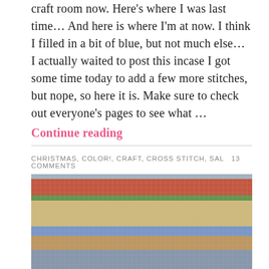craft room now. Here's where I was last time… And here is where I'm at now. I think I filled in a bit of blue, but not much else… I actually waited to post this incase I got some time today to add a few more stitches, but nope, so here it is. Make sure to check out everyone's pages to see what … Continue reading
CHRISTMAS, COLOR!, CRAFT, CROSS STITCH, SAL  13 COMMENTS
[Figure (photo): A close-up photograph of a cross-stitch embroidery work in progress, showing a Christmas themed scene with colorful stitched patterns including red decorative elements at the top, green borders on the left, and various stitched figures on a light canvas background with a yellow border.]